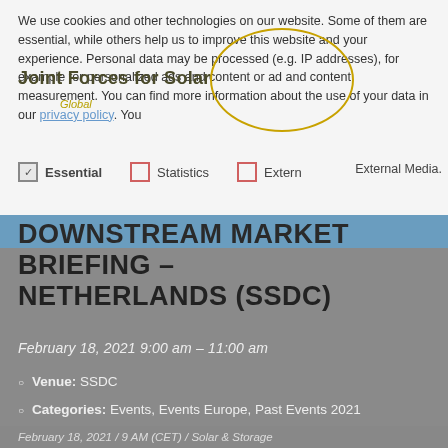We use cookies and other technologies on our website. Some of them are essential, while others help us to improve this website and your experience. Personal data may be processed (e.g. IP addresses), for example for personalized ads and content or ad and content measurement. You can find more information about the use of your data in our privacy policy. You
Joint Forces for Solar
Global
✓ Essential    ☐ Statistics    ☐ External Media.
DOWNSTREAM MARKET BRIEFING – NETHERLANDS (SSDC)
February 18, 2021 9:00 am – 11:00 am
Venue: SSDC
Categories: Events, Events Europe, Past Events 2021
February 18, 2021 / 9 AM (CET) / Solar & Storage